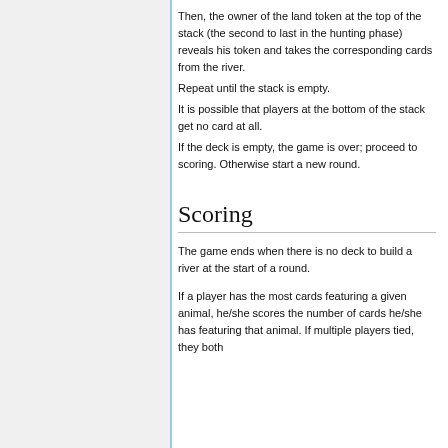Then, the owner of the land token at the top of the stack (the second to last in the hunting phase) reveals his token and takes the corresponding cards from the river. Repeat until the stack is empty. It is possible that players at the bottom of the stack get no card at all. If the deck is empty, the game is over; proceed to scoring. Otherwise start a new round.
Scoring
The game ends when there is no deck to build a river at the start of a round.
If a player has the most cards featuring a given animal, he/she scores the number of cards he/she has featuring that animal. If multiple players tied, they both